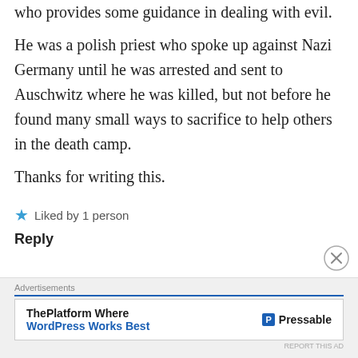who provides some guidance in dealing with evil.
He was a polish priest who spoke up against Nazi Germany until he was arrested and sent to Auschwitz where he was killed, but not before he found many small ways to sacrifice to help others in the death camp.
Thanks for writing this.
Liked by 1 person
Reply
Advertisements
[Figure (screenshot): Advertisement banner for Pressable - ThePlatform Where WordPress Works Best]